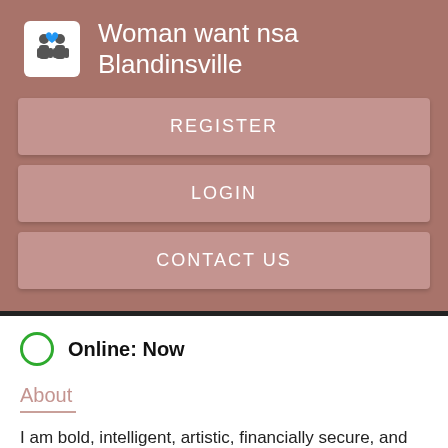Woman want nsa Blandinsville
[Figure (illustration): App icon showing two human figures (male and female silhouettes) with a blue heart above them on a white square background]
REGISTER
LOGIN
CONTACT US
Online: Now
About
I am bold, intelligent, artistic, financially secure, and conversational. I like going to movies, Black womens on li...